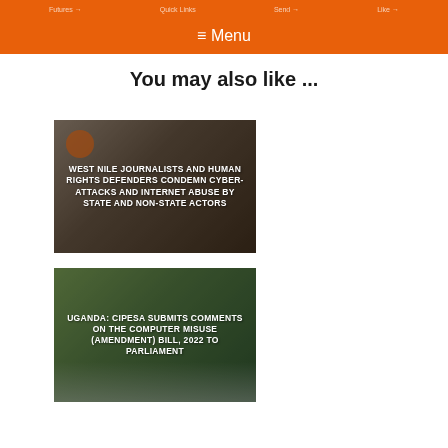≡ Menu
You may also like ...
[Figure (photo): Photo of journalists and human rights defenders at a meeting with overlay text: WEST NILE JOURNALISTS AND HUMAN RIGHTS DEFENDERS CONDEMN CYBER-ATTACKS AND INTERNET ABUSE BY STATE AND NON-STATE ACTORS]
[Figure (photo): Photo of a parliament building with overlay text: UGANDA: CIPESA SUBMITS COMMENTS ON THE COMPUTER MISUSE (AMENDMENT) BILL, 2022 TO PARLIAMENT]